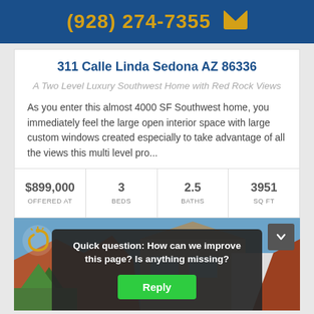(928) 274-7355
311 Calle Linda Sedona AZ 86336
A Two Level Luxury Southwest Home with Red Rock Views
As you enter this almost 4000 SF Southwest home, you immediately feel the large open interior space with large custom windows created especially to take advantage of all the views this multi level pro...
| OFFERED AT | BEDS | BATHS | SQ FT |
| --- | --- | --- | --- |
| $899,000 | 3 | 2.5 | 3951 |
[Figure (photo): Exterior photo of Southwest home with red rock views in Sedona AZ]
Quick question: How can we improve this page? Is anything missing?